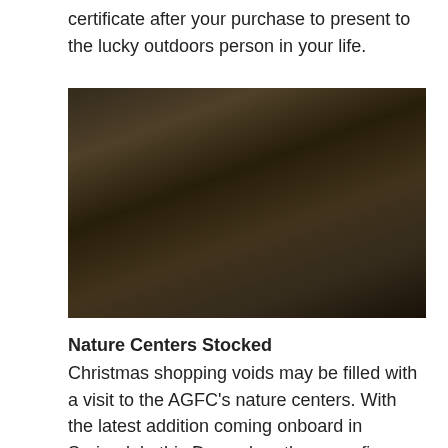certificate after your purchase to present to the lucky outdoors person in your life.
[Figure (photo): Two women in a gift shop with Christmas decorations. One woman on the left holds an open book/brochure, another on the right looks at a stack of nature-themed books. A small decorated Christmas tree and wrapped gifts are on a table in the foreground. Stuffed animal displays are visible in the background.]
Nature Centers Stocked
Christmas shopping voids may be filled with a visit to the AGFC's nature centers. With the latest addition coming onboard in Springdale this December, there are five choices across the state to pick from, each with its own gift shop full of items.